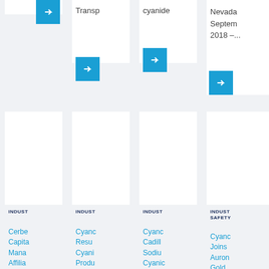[Figure (screenshot): Top row of four card tiles, each showing partial content with blue arrow buttons, text fragments including 'Transp', 'cyanide', 'Nevada September 2018–...']
[Figure (screenshot): Bottom row of four card tiles with white image areas, INDUST category labels, and blue article title text: 'Cerbe Capita Mana Affilia Acqui Cyanc', 'Cyanc Resu Cyani Produ after Hurric', 'Cyanc Cadill Sodiu Cyanic Termi Recen', 'INDUST SAFETY Cyanc Joins Auron Gold Mine']